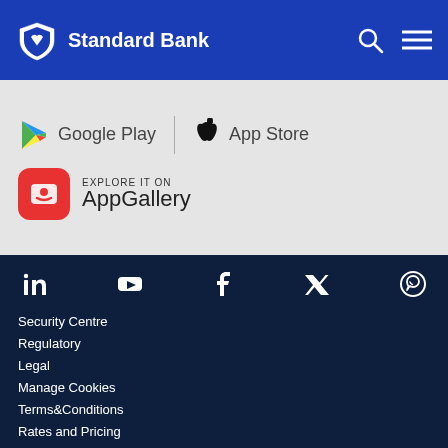Standard Bank
[Figure (logo): Google Play store badge with colorful play triangle icon and 'Google Play' text]
[Figure (logo): Apple App Store badge with Apple logo and 'App Store' text]
[Figure (logo): Huawei AppGallery badge with Huawei red icon and 'EXPLORE IT ON AppGallery' text]
[Figure (infographic): Social media icons row: LinkedIn, YouTube, Facebook, Twitter, WhatsApp]
Security Centre
Regulatory
Legal
Manage Cookies
Terms&Conditions
Rates and Pricing